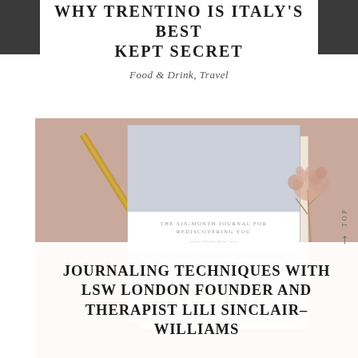WHY TRENTINO IS ITALY'S BEST KEPT SECRET
Food & Drink, Travel
[Figure (photo): A flat lay photo showing a grey linen journal titled 'Mind Notes: The Six Month Journal for Rediscovering You' on a dusty pink background, alongside a gold pencil and dried flowers]
JOURNALING TECHNIQUES WITH LSW LONDON FOUNDER AND THERAPIST LILI SINCLAIR-WILLIAMS